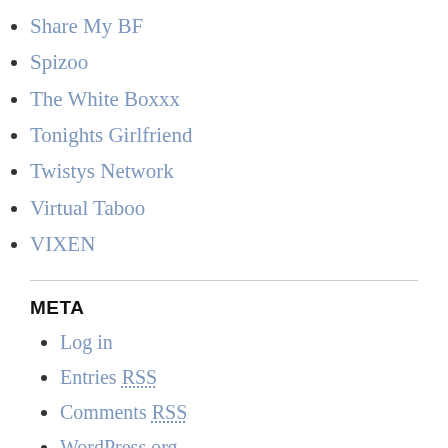Share My BF
Spizoo
The White Boxxx
Tonights Girlfriend
Twistys Network
Virtual Taboo
VIXEN
META
Log in
Entries RSS
Comments RSS
WordPress.org